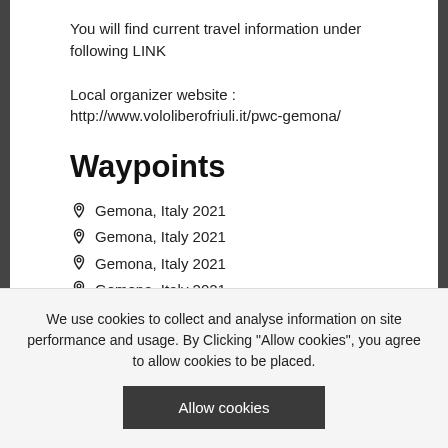You will find current travel information under following LINK
Local organizer website : http://www.vololiberofriuli.it/pwc-gemona/
Waypoints
Gemona, Italy 2021
Gemona, Italy 2021
Gemona, Italy 2021
Gemona, Italy 2021
Gemona, Italy 2021 Organiz...
We use cookies to collect and analyse information on site performance and usage. By Clicking "Allow cookies", you agree to allow cookies to be placed.